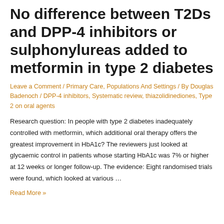No difference between T2Ds and DPP-4 inhibitors or sulphonylureas added to metformin in type 2 diabetes
Leave a Comment / Primary Care, Populations And Settings / By Douglas Badenoch / DPP-4 inhibitors, Systematic review, thiazolidinediones, Type 2 on oral agents
Research question: In people with type 2 diabetes inadequately controlled with metformin, which additional oral therapy offers the greatest improvement in HbA1c? The reviewers just looked at glycaemic control in patients whose starting HbA1c was 7% or higher at 12 weeks or longer follow-up. The evidence: Eight randomised trials were found, which looked at various …
Read More »